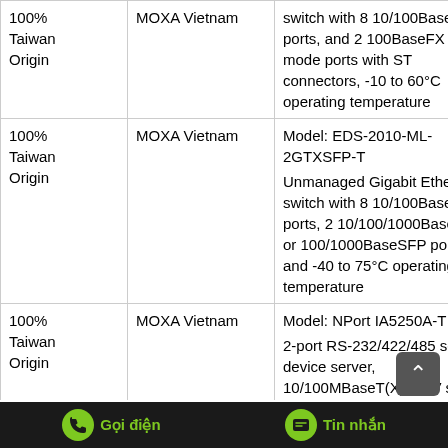| Origin/Percentage | Manufacturer | Description |
| --- | --- | --- |
| 100% Taiwan Origin | MOXA Vietnam | switch with 8 10/100BaseT(X) ports, and 2 100BaseFX multi-mode ports with ST connectors, -10 to 60°C operating temperature |
| 100% Taiwan Origin | MOXA Vietnam | Model: EDS-2010-ML-2GTXSFP-T
Unmanaged Gigabit Ethernet switch with 8 10/100BaseT(X) ports, 2 10/100/1000BaseT(X) or 100/1000BaseSFP ports, and -40 to 75°C operating temperature |
| 100% Taiwan Origin | MOXA Vietnam | Model: NPort IA5250A-T
2-port RS-232/422/485 serial device server, 10/100MBaseT(X), 1KV serial surge, -40~...°C |
Gọi điện   Tin nhắn